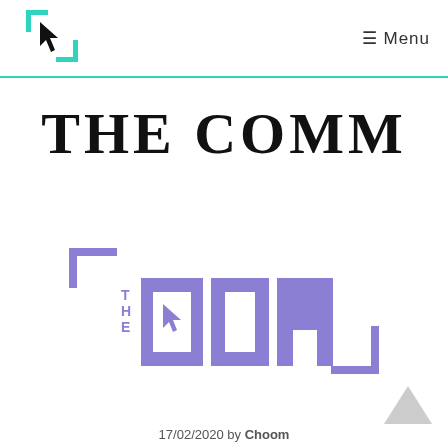[Figure (logo): Website logo: two green bracket corners with a black cursor arrow icon]
≡ Menu
THE COMM
[Figure (logo): The Comm logo in purple: bracket corners with 'THE' small text and 'COMM' block letters with cursor icon inside the C]
17/02/2020 by Choom